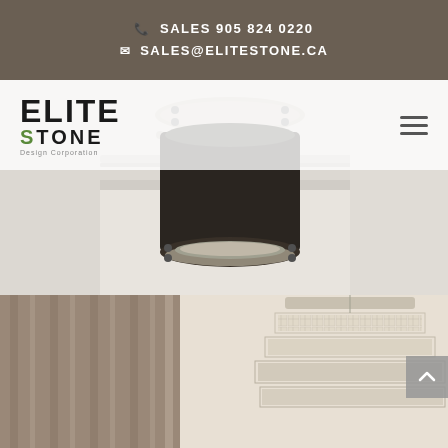SALES 905 824 0220 | SALES@ELITESTONE.CA
[Figure (logo): Elite Stone Design Corporation logo with large ELITE text and STONE below with green S letter, tagline 'Design Corporation']
[Figure (photo): Interior design scene showing a modern cylindrical pendant lamp hanging from a white coffered ceiling, with curtains and a crystal chandelier below]